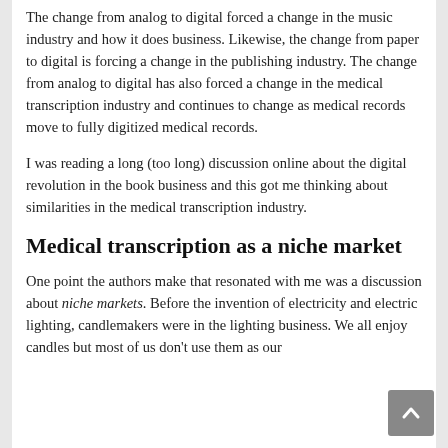The change from analog to digital forced a change in the music industry and how it does business. Likewise, the change from paper to digital is forcing a change in the publishing industry. The change from analog to digital has also forced a change in the medical transcription industry and continues to change as medical records move to fully digitized medical records.
I was reading a long (too long) discussion online about the digital revolution in the book business and this got me thinking about similarities in the medical transcription industry.
Medical transcription as a niche market
One point the authors make that resonated with me was a discussion about niche markets. Before the invention of electricity and electric lighting, candlemakers were in the lighting business. We all enjoy candles but most of us don't use them as our